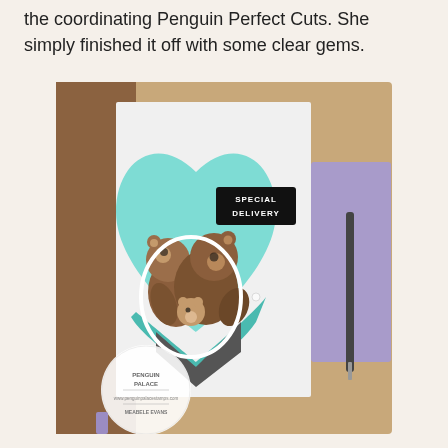the coordinating Penguin Perfect Cuts. She simply finished it off with some clear gems.
[Figure (photo): A handmade greeting card featuring a light blue heart die-cut with a 'Special Delivery' sentiment label and two illustrated bears hugging a smaller bear, placed on a white card base. A circular Penguin Palace watermark logo is visible in the lower left. The card is photographed on a surface with a purple envelope and pen nearby.]